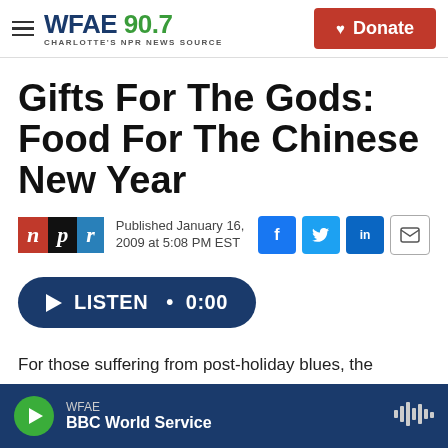WFAE 90.7 Charlotte's NPR News Source | Donate
Gifts For The Gods: Food For The Chinese New Year
Published January 16, 2009 at 5:08 PM EST
LISTEN • 0:00
For those suffering from post-holiday blues, the
WFAE | BBC World Service